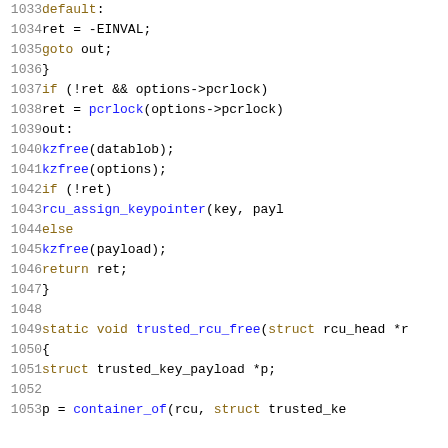[Figure (screenshot): Source code listing showing lines 1033-1053 of a C kernel source file, including a switch default case, goto, kzfree calls, rcu_assign_keypointer, return, closing brace, blank line, and the start of a static void trusted_rcu_free function with struct trusted_key_payload declaration and container_of call.]